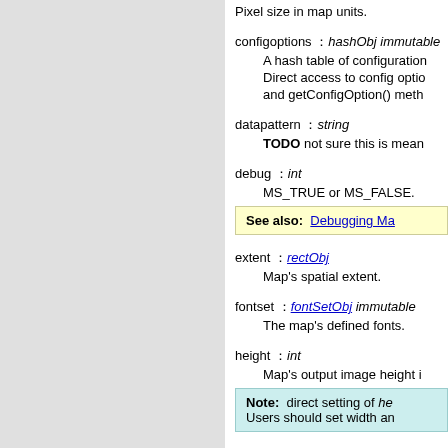Pixel size in map units.
configoptions : hashObj immutable
A hash table of configuration options. Direct access to config options and getConfigOption() methods
datapattern : string
TODO not sure this is mean
debug : int
MS_TRUE or MS_FALSE.
See also: Debugging Ma
extent : rectObj
Map's spatial extent.
fontset : fontSetObj immutable
The map's defined fonts.
height : int
Map's output image height i
Note: direct setting of he Users should set width an